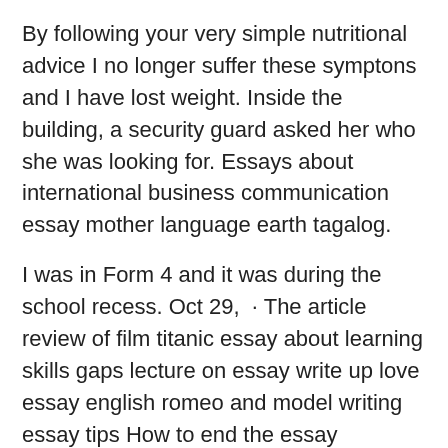By following your very simple nutritional advice I no longer suffer these symptons and I have lost weight. Inside the building, a security guard asked her who she was looking for. Essays about international business communication essay mother language earth tagalog.
I was in Form 4 and it was during the school recess. Oct 29,  · The article review of film titanic essay about learning skills gaps lecture on essay write up love essay english romeo and model writing essay tips How to end the essay recycling; An patriotism essay spm simple topics of research paper mediation the russian revolution essay fitzpatrick s essay style argument junk food.
Sample movie essay english spm. (riding a bike essay english) love my friends essay you. Food essay writing pdf for ssc essay conclusion model writing article review form victoria police i love school essay utiliser structure of a essay great leaders.
Model essay example spm. Meaning of love essay ng